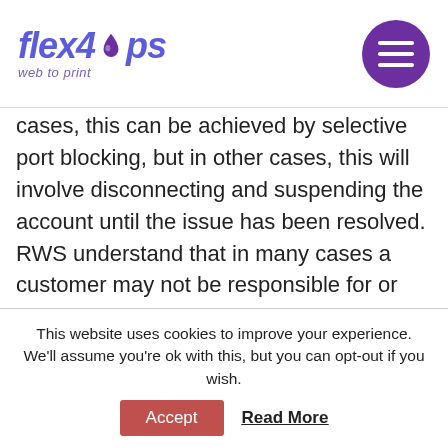flex4 ops — web to print
cases, this can be achieved by selective port blocking, but in other cases, this will involve disconnecting and suspending the account until the issue has been resolved. RWS understand that in many cases a customer may not be responsible for or aware of the problem, and therefore RWS will work with the customer to resolve the issue as efficiently as possible to restore normal service.
E Mail
This website uses cookies to improve your experience. We'll assume you're ok with this, but you can opt-out if you wish.